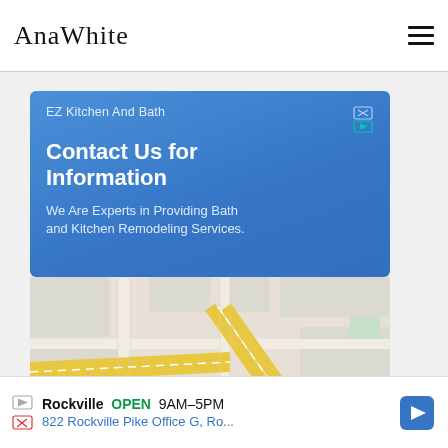AnaWhite
[Figure (infographic): Google ad for EZ Kitchen And Bath with blue background. Text: EZ Kitchen And Bath. Contact Us for Information. We Are Experts in Providing Bath and Kitchen Remodeling Services. Below the ad is a Google Maps view showing streets and a red location pin near Rockville Pike, with yellow highway roads.]
Rockville OPEN 9AM-5PM 822 Rockville Pike Office G, Ro...